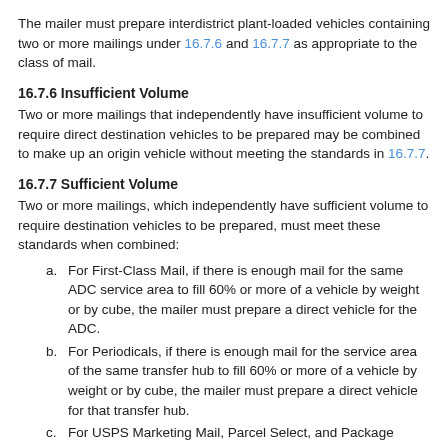The mailer must prepare interdistrict plant-loaded vehicles containing two or more mailings under 16.7.6 and 16.7.7 as appropriate to the class of mail.
16.7.6 Insufficient Volume
Two or more mailings that independently have insufficient volume to require direct destination vehicles to be prepared may be combined to make up an origin vehicle without meeting the standards in 16.7.7.
16.7.7 Sufficient Volume
Two or more mailings, which independently have sufficient volume to require destination vehicles to be prepared, must meet these standards when combined:
a. For First-Class Mail, if there is enough mail for the same ADC service area to fill 60% or more of a vehicle by weight or by cube, the mailer must prepare a direct vehicle for the ADC.
b. For Periodicals, if there is enough mail for the service area of the same transfer hub to fill 60% or more of a vehicle by weight or by cube, the mailer must prepare a direct vehicle for that transfer hub.
c. For USPS Marketing Mail, Parcel Select, and Package Services, if there is enough mail for the same ASF or NDC service area to fill 60% or more of a vehicle by weight or by cube, the mailer